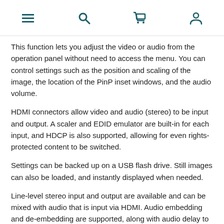[navigation icons: menu, search, cart, user]
This function lets you adjust the video or audio from the operation panel without need to access the menu. You can control settings such as the position and scaling of the image, the location of the PinP inset windows, and the audio volume.
HDMI connectors allow video and audio (stereo) to be input and output. A scaler and EDID emulator are built-in for each input, and HDCP is also supported, allowing for even rights-protected content to be switched.
Settings can be backed up on a USB flash drive. Still images can also be loaded, and instantly displayed when needed.
Line-level stereo input and output are available and can be mixed with audio that is input via HDMI. Audio embedding and de-embedding are supported, along with audio delay to adjust for lip-sync.
The XS-1HD provides three screen modes for a variety of applications.In addition to the matrix switcher mode, there's a [continues below]